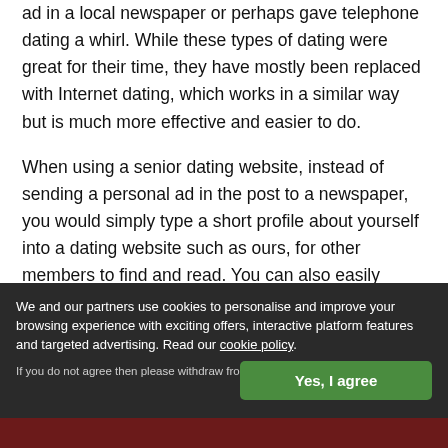ad in a local newspaper or perhaps gave telephone dating a whirl. While these types of dating were great for their time, they have mostly been replaced with Internet dating, which works in a similar way but is much more effective and easier to do.
When using a senior dating website, instead of sending a personal ad in the post to a newspaper, you would simply type a short profile about yourself into a dating website such as ours, for other members to find and read. You can also easily upload a photo of yourself to add to your profile too.
Once you are happy with your profile, you can use simple search tools to view profiles of senior singles who live near you for you to get in touch with.
We and our partners use cookies to personalise and improve your browsing experience with exciting offers, interactive platform features and targeted advertising. Read our cookie policy.
If you do not agree then please withdraw from using this site.